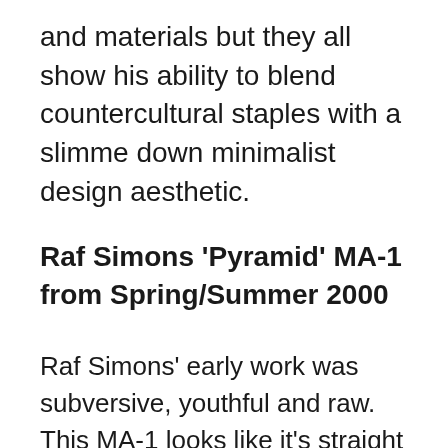and materials but they all show his ability to blend countercultural staples with a slimme down minimalist design aesthetic.
Raf Simons 'Pyramid' MA-1 from Spring/Summer 2000
Raf Simons' early work was subversive, youthful and raw. This MA-1 looks like it's straight out of a cyberpunk flick but was part of the collection SUMMA CUM LAUDE, which was inspired both by Mensa students and the gabba subculture. The cut is oversized, puffy and imposing but in a way that I could only